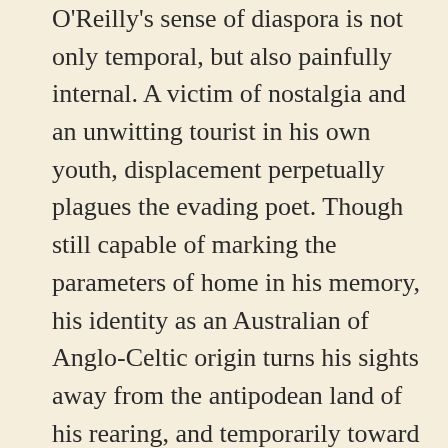O'Reilly's sense of diaspora is not only temporal, but also painfully internal. A victim of nostalgia and an unwitting tourist in his own youth, displacement perpetually plagues the evading poet. Though still capable of marking the parameters of home in his memory, his identity as an Australian of Anglo-Celtic origin turns his sights away from the antipodean land of his rearing, and temporarily toward the British Isles. One senses the poet's hope of finding some outcrop of ancient rock to which he may find some purchase, and carve into the old-world soil of his ancestral home his own marking among the scratchings of his literary forbears.
Migration affords O'Reilly a semblance of